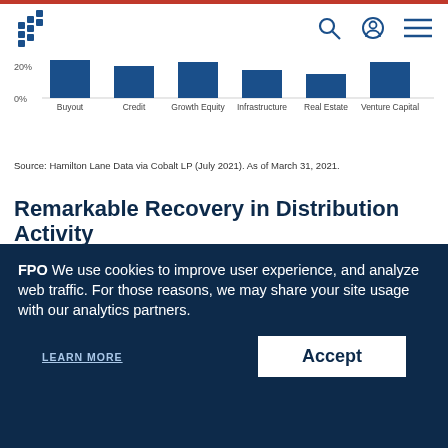Hamilton Lane logo and navigation icons
[Figure (bar-chart): Partial bar chart (cropped)]
Source: Hamilton Lane Data via Cobalt LP (July 2021). As of March 31, 2021.
Remarkable Recovery in Distribution Activity
Private equity¹ distributions slowed to $79B and $81B in Q1 and Q2 2020 respectively (vs. an average of $96B per quarter over the trailing 5 years), among the lowest quarters of distributions since 2013;
FPO We use cookies to improve user experience, and analyze web traffic. For those reasons, we may share your site usage with our analytics partners.